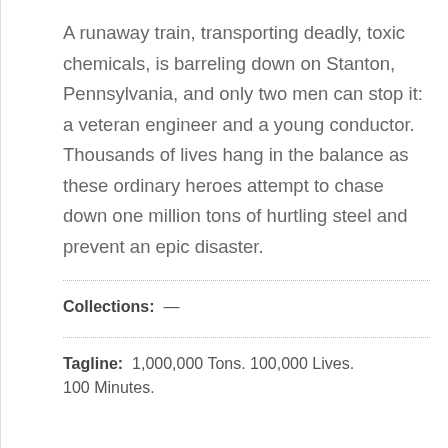A runaway train, transporting deadly, toxic chemicals, is barreling down on Stanton, Pennsylvania, and only two men can stop it: a veteran engineer and a young conductor. Thousands of lives hang in the balance as these ordinary heroes attempt to chase down one million tons of hurtling steel and prevent an epic disaster.
Collections: —
Tagline: 1,000,000 Tons. 100,000 Lives. 100 Minutes.